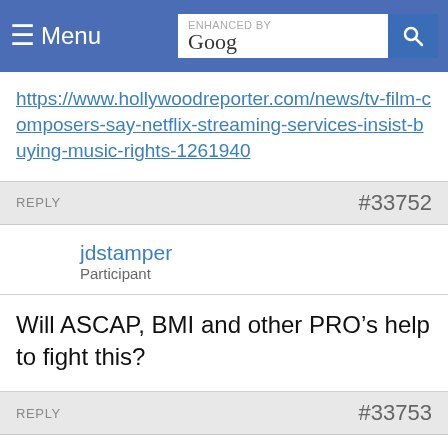Menu | ENHANCED BY Google [search]
https://www.hollywoodreporter.com/news/tv-film-composers-say-netflix-streaming-services-insist-buying-music-rights-1261940
REPLY  #33752
jdstamper
Participant
Will ASCAP, BMI and other PRO’s help to fight this?
REPLY  #33753
Kevin Pike
Guest